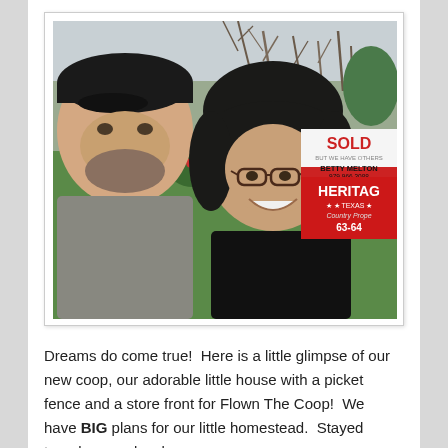[Figure (photo): A selfie of a man wearing a dark baseball cap and a woman wearing glasses, both smiling. Behind them is a real estate SOLD sign reading 'SOLD BUT WE HAVE OTHERS / BETTY MELTON / 979.966.3088 / HERITAGE TEXAS Country Properties' with the number 63-64 visible. Background shows bare winter trees and green lawn.]
Dreams do come true!  Here is a little glimpse of our new coop, our adorable little house with a picket fence and a store front for Flown The Coop!  We have BIG plans for our little homestead.  Stayed tuned as we develop our